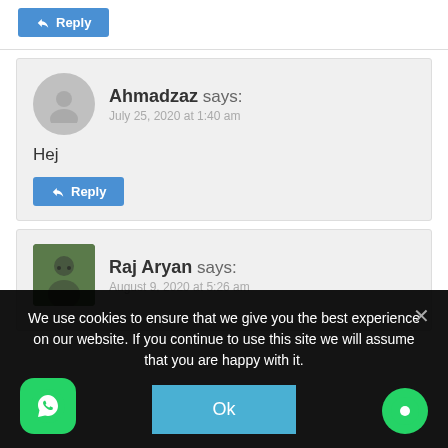Reply (button)
Ahmadzaz says:
July 25, 2020 at 1:40 am

Hej
Reply (button)
Raj Aryan says:
August 9, 2020 at 5:26 am
We use cookies to ensure that we give you the best experience on our website. If you continue to use this site we will assume that you are happy with it.
Ok